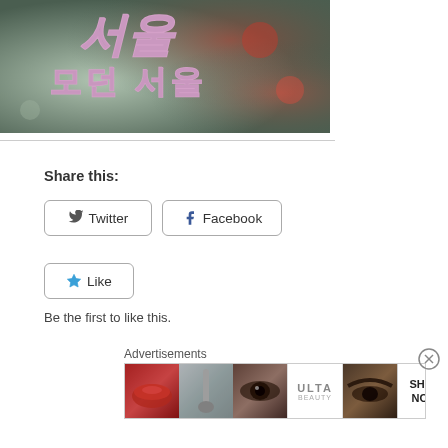[Figure (photo): Korean text (모던 서울 / Modern Seoul) in neon-style pink lettering on a blurred bokeh background]
Share this:
[Figure (other): Twitter share button]
[Figure (other): Facebook share button]
[Figure (other): Like button with star icon]
Be the first to like this.
Advertisements
[Figure (photo): Ulta beauty advertisement banner showing makeup themed images: lips, brush, eye, Ulta logo, brows, and SHOP NOW text]